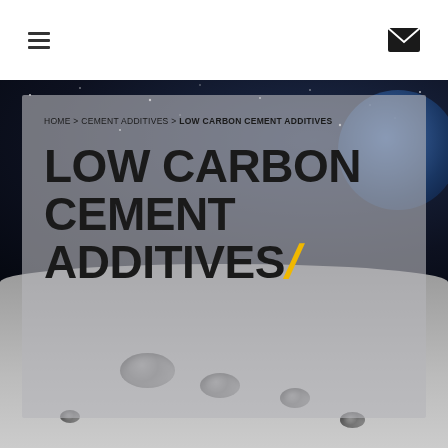Navigation header with hamburger menu and mail icon
HOME > CEMENT ADDITIVES > LOW CARBON CEMENT ADDITIVES
LOW CARBON CEMENT ADDITIVES